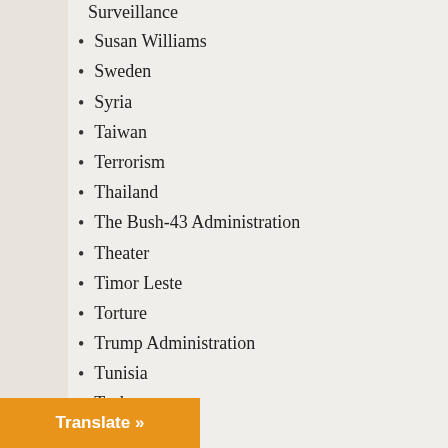Surveillance
Susan Williams
Sweden
Syria
Taiwan
Terrorism
Thailand
The Bush-43 Administration
Theater
Timor Leste
Torture
Trump Administration
Tunisia
Turkey
U.S.
U.S. Congress
U.S. Supreme Courrt
Ukraine
Uncategorized
United Arab Emirates